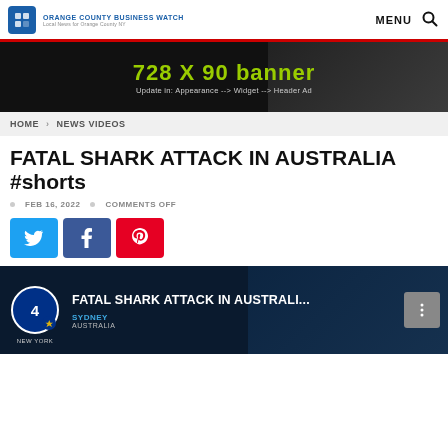ORANGE COUNTY BUSINESS WATCH — LOCAL NEWS FOR ORANGE COUNTY NY — MENU
[Figure (infographic): 728 X 90 banner ad placeholder with dark background. Text: '728 X 90 banner' and 'Update in: Appearance --> Widget --> Header Ad']
HOME > NEWS VIDEOS
FATAL SHARK ATTACK IN AUSTRALIA #shorts
FEB 16, 2022  •  COMMENTS OFF
[Figure (infographic): Social sharing buttons: Twitter (blue), Facebook (dark blue), Pinterest (red)]
[Figure (screenshot): Video thumbnail showing NBC New York logo, text 'FATAL SHARK ATTACK IN AUSTRALI...' with Sydney, Australia location label on dark background]